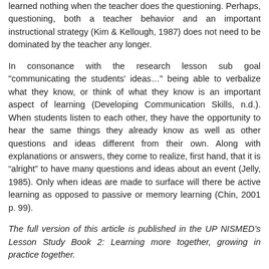learned nothing when the teacher does the questioning. Perhaps, questioning, both a teacher behavior and an important instructional strategy (Kim & Kellough, 1987) does not need to be dominated by the teacher any longer.
In consonance with the research lesson sub goal "communicating the students' ideas..." being able to verbalize what they know, or think of what they know is an important aspect of learning (Developing Communication Skills, n.d.). When students listen to each other, they have the opportunity to hear the same things they already know as well as other questions and ideas different from their own. Along with explanations or answers, they come to realize, first hand, that it is “alright” to have many questions and ideas about an event (Jelly, 1985). Only when ideas are made to surface will there be active learning as opposed to passive or memory learning (Chin, 2001 p. 99).
The full version of this article is published in the UP NISMED’s Lesson Study Book 2: Learning more together, growing in practice together.